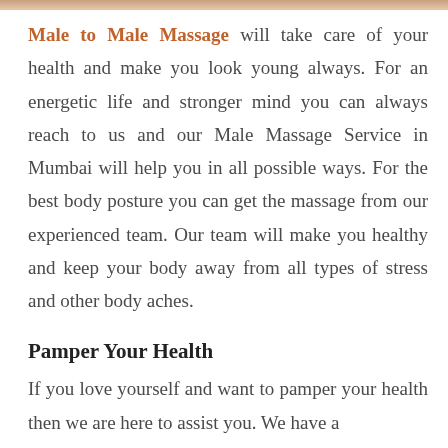[Figure (photo): Partial image strip visible at the very top of the page]
Male to Male Massage will take care of your health and make you look young always. For an energetic life and stronger mind you can always reach to us and our Male Massage Service in Mumbai will help you in all possible ways. For the best body posture you can get the massage from our experienced team. Our team will make you healthy and keep your body away from all types of stress and other body aches.
Pamper Your Health
If you love yourself and want to pamper your health then we are here to assist you. We have a